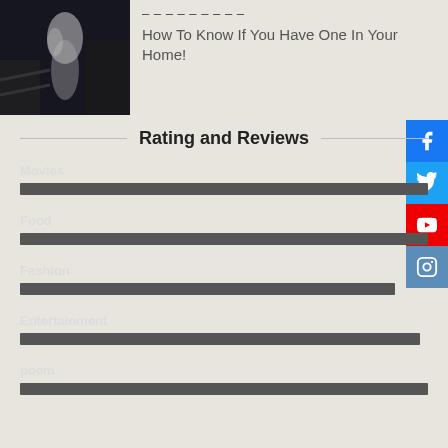[Figure (photo): Dark moody photo of ghostly figure in white]
How To Know If You Have One In Your Home!
Rating and Reviews
Movies
Food
Fashion
Entertainment
poem